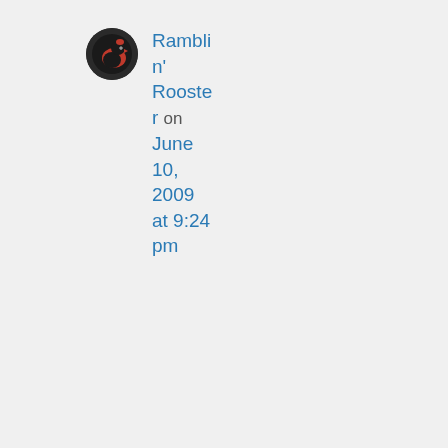[Figure (illustration): Circular avatar image showing a rooster/bird logo in red and black tones]
Ramblin' Rooster on June 10, 2009 at 9:24 pm
Do I have
it?
Privacy & Cookies: This site uses cookies. By continuing to use this website, you agree to their use.
To find out more, including how to control cookies, see here: Cookie Policy
Close and accept